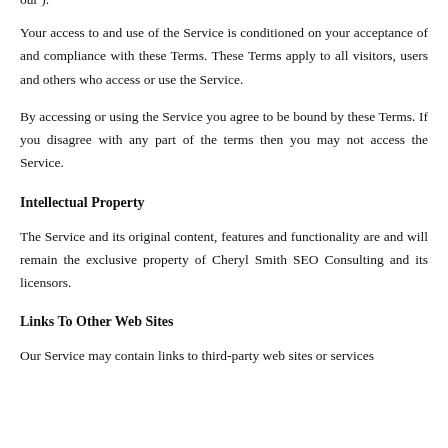our ).
Your access to and use of the Service is conditioned on your acceptance of and compliance with these Terms. These Terms apply to all visitors, users and others who access or use the Service.
By accessing or using the Service you agree to be bound by these Terms. If you disagree with any part of the terms then you may not access the Service.
Intellectual Property
The Service and its original content, features and functionality are and will remain the exclusive property of Cheryl Smith SEO Consulting and its licensors.
Links To Other Web Sites
Our Service may contain links to third-party web sites or services